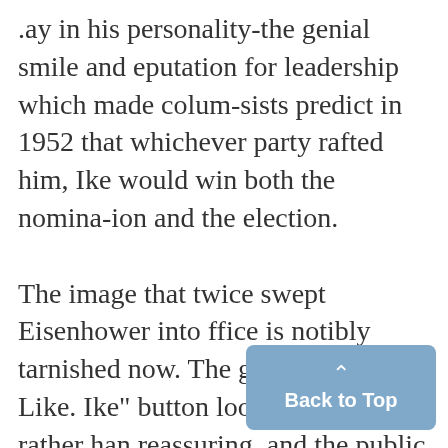.ay in his personality-the genial smile and eputation for leadership which made columnists predict in 1952 that whichever party rafted him, Ike would win both the nomination and the election. The image that twice swept Eisenhower into ffice is notibly tarnished now. The grin on he "I Like. Ike" button looks fatuous rather han reassuring, and the public (whose unasiness with Ike's administrative amorphous-less was reflected in increasingly solid Democratic Congresses) will remember him as a